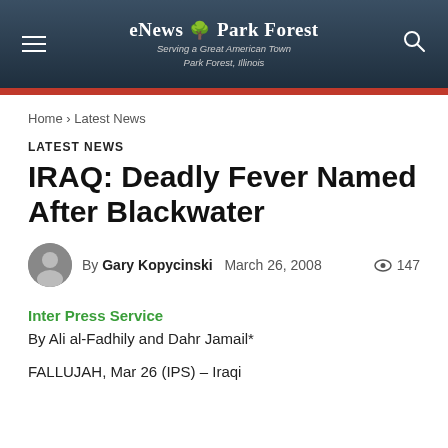eNews Park Forest – Serving a Great American Town, Park Forest, Illinois
Home › Latest News
LATEST NEWS
IRAQ: Deadly Fever Named After Blackwater
By Gary Kopycinski   March 26, 2008   147 views
Inter Press Service
By Ali al-Fadhily and Dahr Jamail*
FALLUJAH, Mar 26 (IPS) – Iraqi